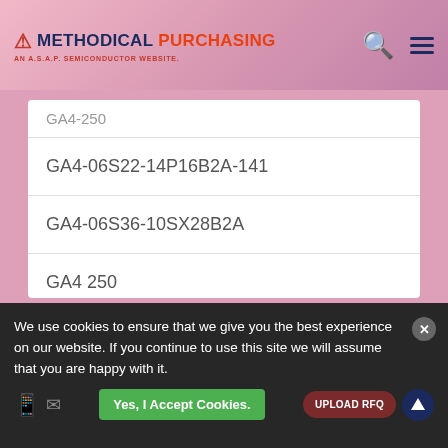METHODICAL PURCHASING — AN A.S.A.P. SEMICONDUCTOR WEBSITE
GA4-06S22-14P16B2A-141
GA4-06S36-10SX28B2A
GA4 250
GA4-250
GA4-250
We use cookies to ensure that we give you the best experience on our website. If you continue to use this site we will assume that you are happy with it.